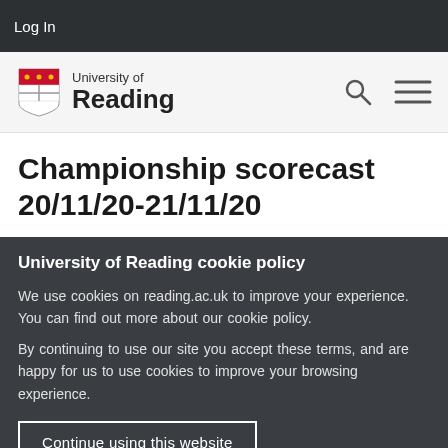Log In
[Figure (logo): University of Reading logo with crest and text]
Championship scorecast 20/11/20-21/11/20
University of Reading cookie policy
We use cookies on reading.ac.uk to improve your experience. You can find out more about our cookie policy.
By continuing to use our site you accept these terms, and are happy for us to use cookies to improve your browsing experience.
Continue using this website